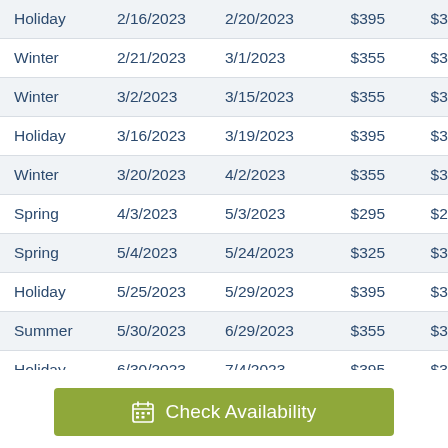| Season | Start | End | Rate1 | Rate2 | Rate3 |
| --- | --- | --- | --- | --- | --- |
| Holiday | 2/16/2023 | 2/20/2023 | $395 | $395 | $395 |
| Winter | 2/21/2023 | 3/1/2023 | $355 | $355 | $355 |
| Winter | 3/2/2023 | 3/15/2023 | $355 | $355 | $355 |
| Holiday | 3/16/2023 | 3/19/2023 | $395 | $395 | $395 |
| Winter | 3/20/2023 | 4/2/2023 | $355 | $355 | $355 |
| Spring | 4/3/2023 | 5/3/2023 | $295 | $295 | $295 |
| Spring | 5/4/2023 | 5/24/2023 | $325 | $325 | $325 |
| Holiday | 5/25/2023 | 5/29/2023 | $395 | $395 | $395 |
| Summer | 5/30/2023 | 6/29/2023 | $355 | $355 | $355 |
| Holiday | 6/30/2023 | 7/4/2023 | $395 | $395 | $395 |
| ... | 7/5/2023 | 7/... | $... | $... | $... |
Check Availability